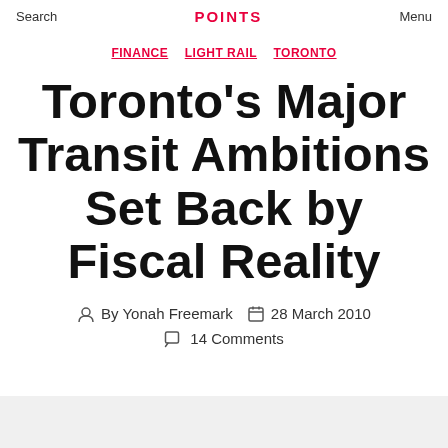Search  POINTS  Menu
FINANCE  LIGHT RAIL  TORONTO
Toronto's Major Transit Ambitions Set Back by Fiscal Reality
By Yonah Freemark  28 March 2010  14 Comments